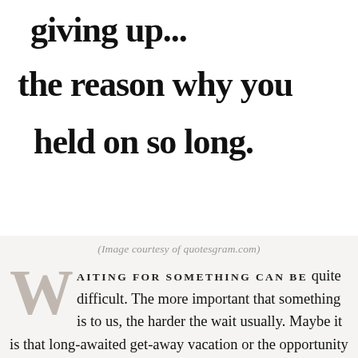[Figure (illustration): Handwritten text in black marker on white background reading: 'giving up... the reason why you held on so long.' (partially cut off at top)]
(Image courtesy of quotesgram.com)
WAITING FOR SOMETHING CAN BE quite difficult. The more important that something is to us, the harder the wait usually. Maybe it is that long-awaited get-away vacation or the opportunity to reunite with an old friend. Perhaps, like often happens here in the Northeast US, the waiting for warmer temperatures seemingly